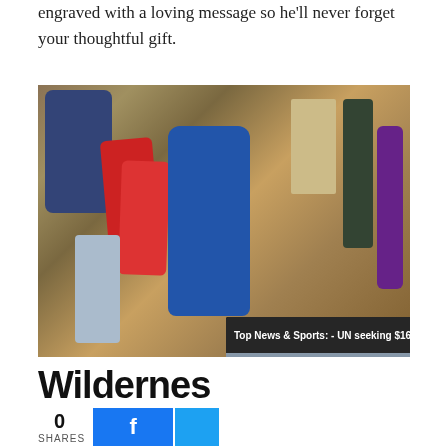engraved with a loving message so he'll never forget your thoughtful gift.
[Figure (photo): Overhead flat-lay photo of camping and hiking gear including a blue Deuter backpack, red sleeping bags, patterned bag, tent poles, lantern, and other outdoor equipment laid out on a wooden surface. A news video overlay appears in the bottom-right corner showing 'Top News & Sports: - UN seeking $160...' with AP logo and 'UN SEEKING $160M EMERGENCY AID FOR' text.]
Wildernes
0
SHARES